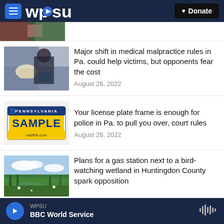WPSU | Donate
[Figure (photo): Partial cropped photo at top of news list]
Major shift in medical malpractice rules in Pa. could help victims, but opponents fear the cost
August 26, 2022
[Figure (photo): Pennsylvania license plate reading SAMPLE with visitPA.com]
Your license plate frame is enough for police in Pa. to pull you over, court rules
August 26, 2022
[Figure (photo): Green wetland landscape photo]
Plans for a gas station next to a bird-watching wetland in Huntingdon County spark opposition
WPSU BBC World Service